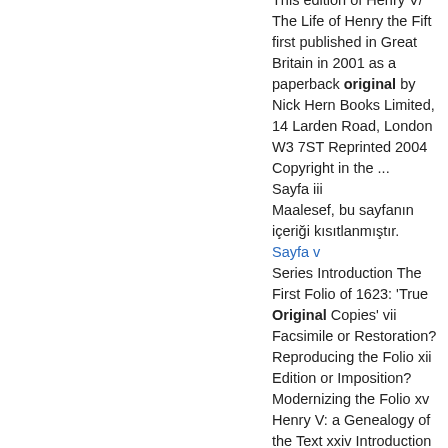This edition of Henry V/ The Life of Henry the Fift first published in Great Britain in 2001 as a paperback original by Nick Hern Books Limited, 14 Larden Road, London W3 7ST Reprinted 2004 Copyright in the ... Sayfa iii Maalesef, bu sayfanın içeriği kısıtlanmıştır.
Sayfa v
Series Introduction The First Folio of 1623: 'True Original Copies' vii Facsimile or Restoration? Reproducing the Folio xii Edition or Imposition? Modernizing the Folio xv Henry V: a Genealogy of the Text xxiv Introduction